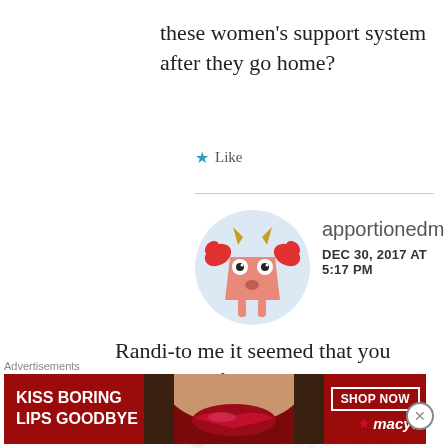these women's support system after they go home?
Like
apportionedmen
DEC 30, 2017 AT 5:17 PM
[Figure (illustration): Cartoon avatar of a crab-like monster character with claws, horns, googly eyes, on a lavender circle background]
Randi-to me it seemed that you were/are defending the retreat. Are you not? If you are defending the retreat, you should
Advertisements
[Figure (screenshot): Macy's advertisement banner: KISS BORING LIPS GOODBYE, with photo of woman's lips, SHOP NOW button and Macy's star logo]